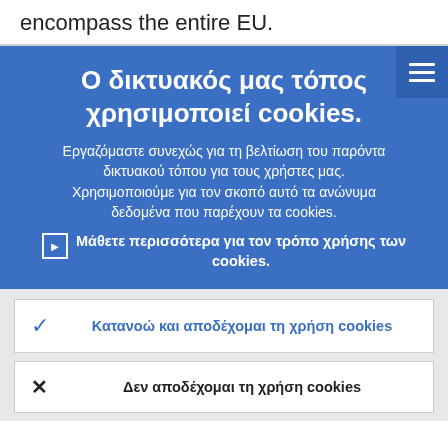encompass the entire EU.
Ο δικτυακός μας τόπος χρησιμοποιεί cookies.
Εργαζόμαστε συνεχώς για τη βελτίωση του παρόντα δικτυακού τόπου για τους χρήστες μας. Χρησιμοποιούμε για τον σκοπό αυτό τα ανώνυμα δεδομένα που παρέχουν τα cookies.
› Μάθετε περισσότερα για τον τρόπο χρήσης των cookies.
✓ Κατανοώ και αποδέχομαι τη χρήση cookies
✗ Δεν αποδέχομαι τη χρήση cookies